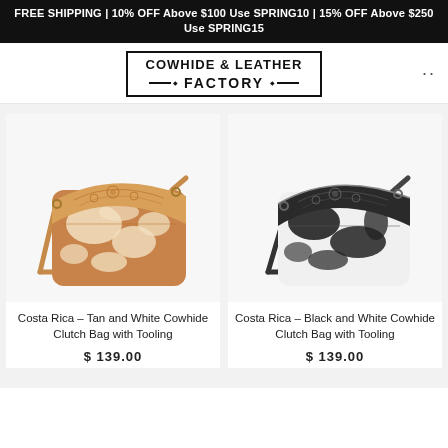FREE SHIPPING | 10% OFF Above $100 Use SPRING10 | 15% OFF Above $250 Use SPRING15
[Figure (logo): Cowhide & Leather Factory logo with decorative border and horizontal lines]
[Figure (photo): Costa Rica Tan and White Cowhide Clutch Bag with floral tooled leather top panel]
Costa Rica – Tan and White Cowhide Clutch Bag with Tooling
$ 139.00
[Figure (photo): Costa Rica Black and White Cowhide Clutch Bag with dark floral tooled leather top panel]
Costa Rica – Black and White Cowhide Clutch Bag with Tooling
$ 139.00